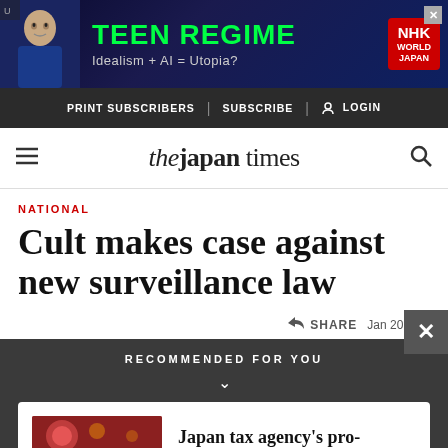[Figure (photo): Ad banner for NHK World Japan Teen Regime show: Idealism + AI = Utopia?]
PRINT SUBSCRIBERS | SUBSCRIBE | LOGIN
the japan times
NATIONAL
Cult makes case against new surveillance law
SHARE   Jan 20, 200
RECOMMENDED FOR YOU
Japan tax agency's pro-drinking campaign sparks backlash